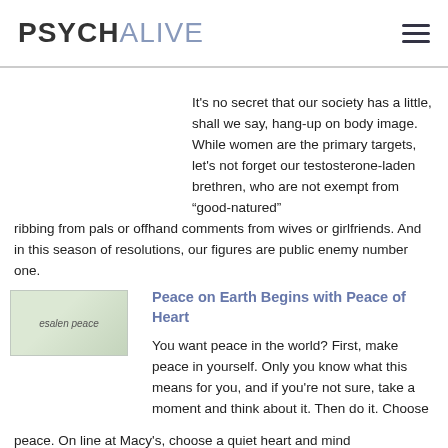PSYCHALIVE
It’s no secret that our society has a little, shall we say, hang-up on body image. While women are the primary targets, let’s not forget our testosterone-laden brethren, who are not exempt from “good-natured” ribbing from pals or offhand comments from wives or girlfriends. And in this season of resolutions, our figures are public enemy number one.
[Figure (photo): esalen peace thumbnail image]
Peace on Earth Begins with Peace of Heart
You want peace in the world? First, make peace in yourself. Only you know what this means for you, and if you’re not sure, take a moment and think about it. Then do it. Choose peace. On line at Macy’s, choose a quiet heart and mind